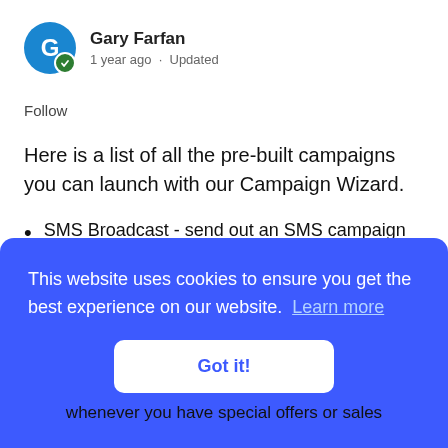[Figure (other): User avatar circle with letter G in blue, with a small green admin badge icon at bottom right]
Gary Farfan
1 year ago · Updated
Follow
Here is a list of all the pre-built campaigns you can launch with our Campaign Wizard.
SMS Broadcast - send out an SMS campaign to your customers (you can edit the
This website uses cookies to ensure you get the best experience on our website.  Learn more
Got it!
whenever you have special offers or sales